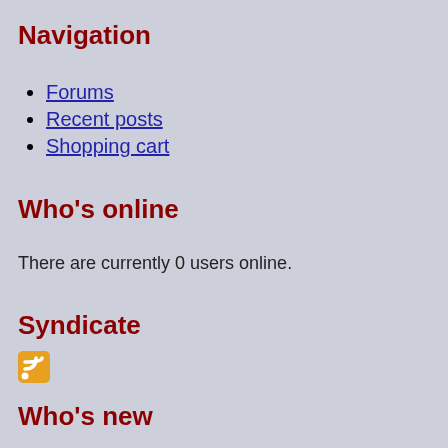Navigation
Forums
Recent posts
Shopping cart
Who's online
There are currently 0 users online.
Syndicate
[Figure (logo): RSS feed icon, orange square with white RSS symbol]
Who's new
SergioRar